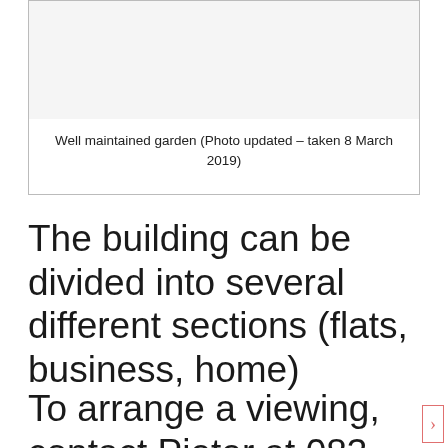[Figure (photo): Photo of a well maintained garden, shown as a white/light area within a bordered box]
Well maintained garden (Photo updated – taken 8 March 2019)
The building can be divided into several different sections (flats, business, home)
To arrange a viewing, contact Pieter at 083 300...